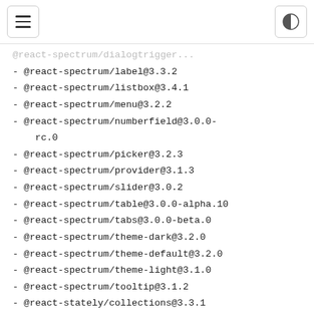[hamburger menu] [theme toggle]
@react-spectrum/dialogtrigger (truncated/partially visible)
- @react-spectrum/label@3.3.2
- @react-spectrum/listbox@3.4.1
- @react-spectrum/menu@3.2.2
- @react-spectrum/numberfield@3.0.0-rc.0
- @react-spectrum/picker@3.2.3
- @react-spectrum/provider@3.1.3
- @react-spectrum/slider@3.0.2
- @react-spectrum/table@3.0.0-alpha.10
- @react-spectrum/tabs@3.0.0-beta.0
- @react-spectrum/theme-dark@3.2.0
- @react-spectrum/theme-default@3.2.0
- @react-spectrum/theme-light@3.1.0
- @react-spectrum/tooltip@3.1.2
- @react-stately/collections@3.3.1